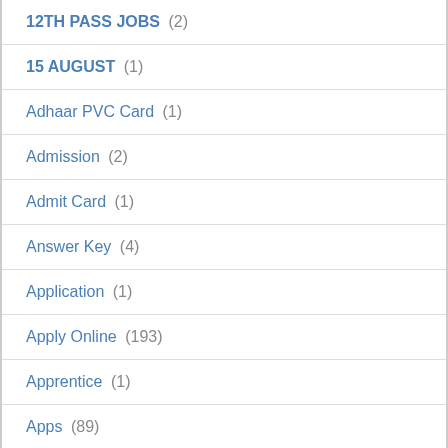12TH PASS JOBS (2)
15 AUGUST (1)
Adhaar PVC Card (1)
Admission (2)
Admit Card (1)
Answer Key (4)
Application (1)
Apply Online (193)
Apprentice (1)
Apps (89)
ARMY JOBS (2)
Bank Job (16)
Bank Jobs (6)
Breaking News (1)
Call Latter (4)